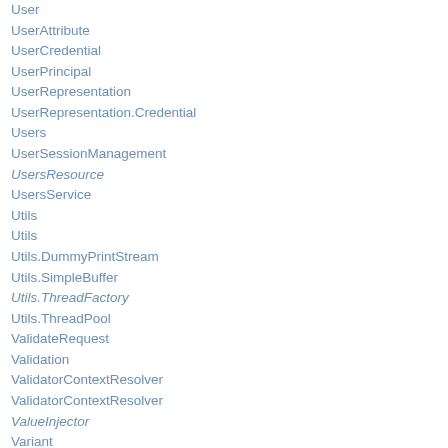User
UserAttribute
UserCredential
UserPrincipal
UserRepresentation
UserRepresentation.Credential
Users
UserSessionManagement
UsersResource
UsersService
Utils
Utils
Utils.DummyPrintStream
Utils.SimpleBuffer
Utils.ThreadFactory
Utils.ThreadPool
ValidateRequest
Validation
ValidatorContextResolver
ValidatorContextResolver
ValueInjector
Variant
Variant.VariantListBuilder
VariantListBuilderImpl
VariantListBuilderProvider
VariantQuality
Verification
VerificationException
VerificationResult
VerificationResults
VerificationResultSet
Verifications